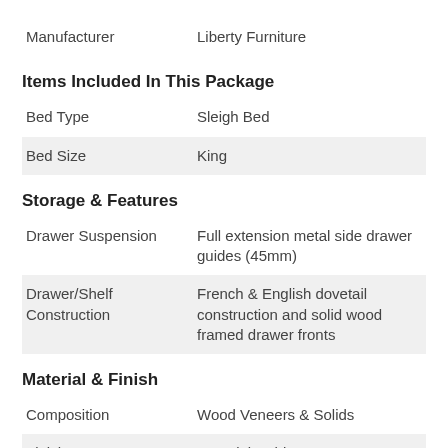| Manufacturer | Liberty Furniture |
Items Included In This Package
| Bed Type | Sleigh Bed |
| Bed Size | King |
Storage & Features
| Drawer Suspension | Full extension metal side drawer guides (45mm) |
| Drawer/Shelf Construction | French & English dovetail construction and solid wood framed drawer fronts |
Material & Finish
| Composition | Wood Veneers & Solids |
| Finish | Porcelain white |